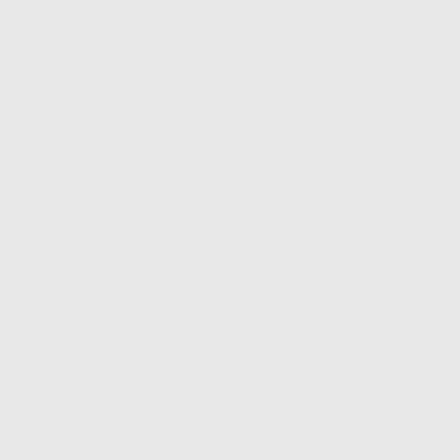Wipprecht, Rudolph, pvt. Score a
195
Wise, Alonzo D., capt. Score at S
195
Wise, Frank. Deharred from reen
Wire, Hugh D., capt. Detailed as mand 5th battalion...
117
Wip, Stuart W., pvt. Score at Sea
195
Wolf, Paul A., capt. Score at com
173
Wood, Frank C., 1st lieut. Expert
79
Wd, Rinaldo R., 21 lieut. Relativ
Cir. 7.
Woodbury, F. T., 1st lieut. On du petitions
195
Woodrufi, Roy C., q. m. sergt. Ex